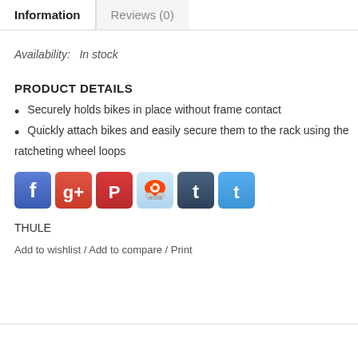Information
Reviews (0)
Availability:  In stock
PRODUCT DETAILS
Securely holds bikes in place without frame contact
Quickly attach bikes and easily secure them to the rack using the ratcheting wheel loops
[Figure (other): Social media sharing icons: Facebook, Google+, Pinterest, Reddit, Tumblr, Twitter]
THULE
Add to wishlist / Add to compare / Print